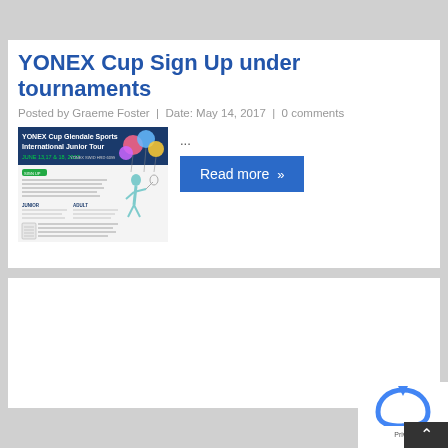YONEX Cup Sign Up under tournaments
Posted by Graeme Foster  |  Date: May 14, 2017  |  0 comments
[Figure (screenshot): YONEX Cup Glendale Sports International Junior Tour flyer showing June 13, 17 & 18, 2017 dates with balloons and badminton player graphic]
...
Read more »